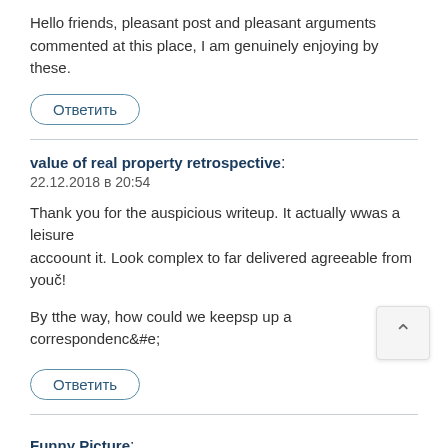Hello friends, pleasant post and pleasant arguments commented at this place, I am genuinely enjoying by these.
Ответить
value of real property retrospective: 22.12.2018 в 20:54
Thank you for the auspicious writeup. It actially wwas a leisure accoount it. Look complex to far delivered agreeable from you!
By tthe way, how could we keepsp up a correspondence
Ответить
Funny Picture: 23.12.2018 в 10:49